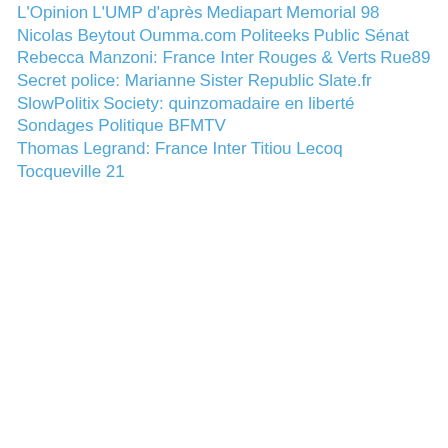L'Opinion
L'UMP d'après
Mediapart
Memorial 98
Nicolas Beytout
Oumma.com
Politeeks
Public Sénat
Rebecca Manzoni: France Inter
Rouges & Verts
Rue89
Secret police: Marianne
Sister Republic
Slate.fr
SlowPolitix
Society: quinzomadaire en liberté
Sondages Politique BFMTV
Thomas Legrand: France Inter
Titiou Lecoq
Tocqueville 21